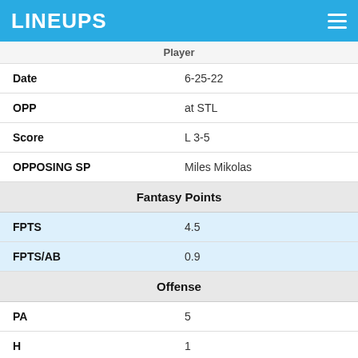LINEUPS
| Label | Value |
| --- | --- |
| Player |  |
| Date | 6-25-22 |
| OPP | at STL |
| Score | L 3-5 |
| OPPOSING SP | Miles Mikolas |
| Fantasy Points |  |
| FPTS | 4.5 |
| FPTS/AB | 0.9 |
| Offense |  |
| PA | 5 |
| H | 1 |
| 2B | 0 |
| 3B | 0 |